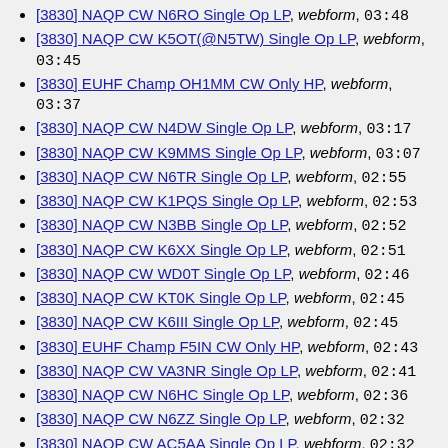[3830] NAQP CW N6RO Single Op LP, webform, 03:48
[3830] NAQP CW K5OT(@N5TW) Single Op LP, webform, 03:45
[3830] EUHF Champ OH1MM CW Only HP, webform, 03:37
[3830] NAQP CW N4DW Single Op LP, webform, 03:17
[3830] NAQP CW K9MMS Single Op LP, webform, 03:07
[3830] NAQP CW N6TR Single Op LP, webform, 02:55
[3830] NAQP CW K1PQS Single Op LP, webform, 02:53
[3830] NAQP CW N3BB Single Op LP, webform, 02:52
[3830] NAQP CW K6XX Single Op LP, webform, 02:51
[3830] NAQP CW WD0T Single Op LP, webform, 02:46
[3830] NAQP CW KT0K Single Op LP, webform, 02:45
[3830] NAQP CW K6III Single Op LP, webform, 02:45
[3830] EUHF Champ F5IN CW Only HP, webform, 02:43
[3830] NAQP CW VA3NR Single Op LP, webform, 02:41
[3830] NAQP CW N6HC Single Op LP, webform, 02:36
[3830] NAQP CW N6ZZ Single Op LP, webform, 02:32
[3830] NAQP CW AC5AA Single Op LP, webform, 02:32
[3830] NAQP CW W3CP Single Op LP, webform, 02:29
[3830] NAQP CW AE7DX Single Op LP, webform,